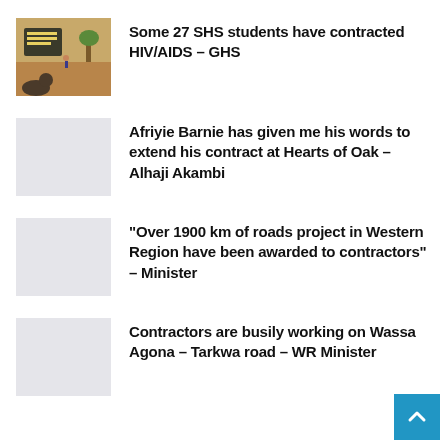[Figure (photo): Outdoor school scene with a sign reading KNOW YOUR HIV STATUS]
Some 27 SHS students have contracted HIV/AIDS – GHS
[Figure (photo): Light grey placeholder image]
Afriyie Barnie has given me his words to extend his contract at Hearts of Oak – Alhaji Akambi
[Figure (photo): Light grey placeholder image]
“Over 1900 km of roads project in Western Region have been awarded to contractors” – Minister
[Figure (photo): Light grey placeholder image]
Contractors are busily working on Wassa Agona – Tarkwa road – WR Minister